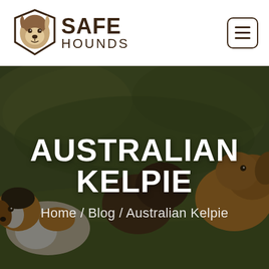[Figure (logo): Safe Hounds logo with a dog head illustration and brand name text 'SAFE HOUNDS']
[Figure (photo): Hero banner with a group of dogs sitting on grass, with a dark overlay, featuring a large title 'AUSTRALIAN KELPIE' and breadcrumb navigation 'Home / Blog / Australian Kelpie']
AUSTRALIAN KELPIE
Home / Blog / Australian Kelpie